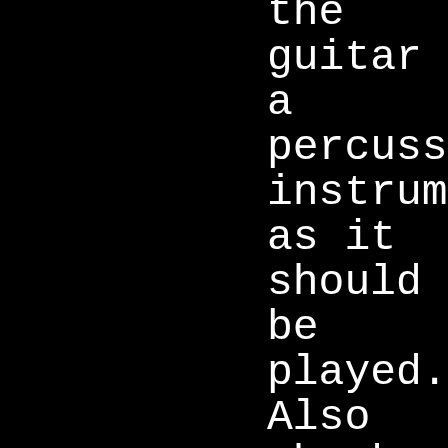the guitar as a percussion instrument as it should be played. Also check out how Django feels the swing in between his phrases. But mostly listen to Django.